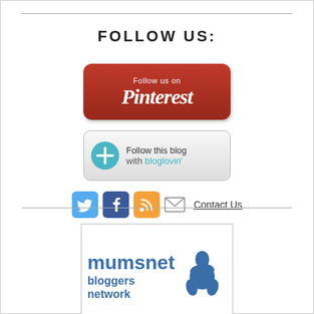FOLLOW US:
[Figure (logo): Pinterest 'Follow us on Pinterest' button — red rounded rectangle with white italic Pinterest logo text]
[Figure (logo): Bloglovin 'Follow this blog with bloglovin' button — gray rounded rectangle with blue plus icon and text]
[Figure (logo): Social media icon row: Twitter (blue bird), Facebook (blue f), RSS (orange), email envelope, and 'Contact Us' underlined link]
[Figure (logo): Mumsnet Bloggers Network badge — blue text and illustration in a bordered box]